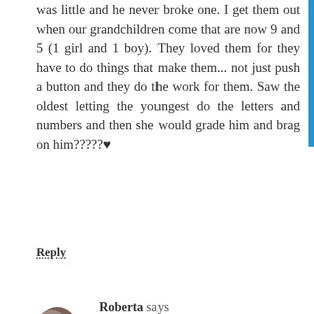was little and he never broke one. I get them out when our grandchildren come that are now 9 and 5 (1 girl and 1 boy). They loved them for they have to do things that make them... not just push a button and they do the work for them. Saw the oldest letting the youngest do the letters and numbers and then she would grade him and brag on him?????
Reply
Roberta says
March 2, 2017 at 8:31 AM
Toys that have lasted for us include wooden blocks, trains, cars, animals and a FEW Legos. (We do have too many LEGOS, but I'm working